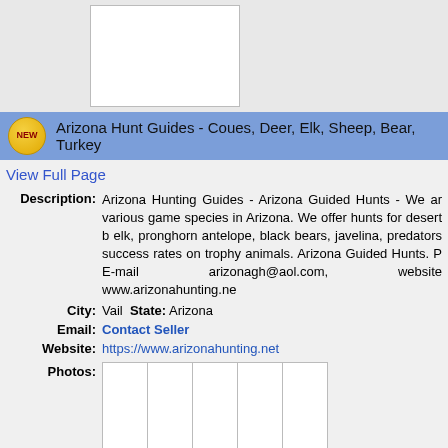[Figure (photo): Top listing photo box, white empty box]
Arizona Hunt Guides - Coues, Deer, Elk, Sheep, Bear, Turkey
View Full Page
Description: Arizona Hunting Guides - Arizona Guided Hunts - We ar various game species in Arizona. We offer hunts for desert b elk, pronghorn antelope, black bears, javelina, predators success rates on trophy animals. Arizona Guided Hunts. P E-mail arizonagh@aol.com, website www.arizonahunting.ne
City: Vail  State: Arizona
Email: Contact Seller
Website: https://www.arizonahunting.net
[Figure (photo): Grid of hunting photos, 2 rows of 5 cells. Row 2, cell 2 shows a hunter posing with a large harvested animal (appears to be a bear or elk) in a field.]